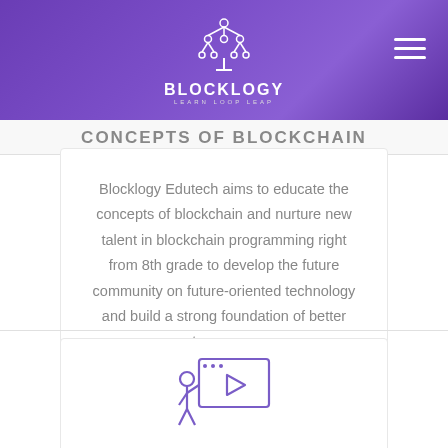[Figure (logo): Blocklogy Edutech logo with circuit-tree icon above text BLOCKLOGY and tagline LEARN LOOP LEAP on purple gradient header]
CONCEPTS OF BLOCKCHAIN
Blocklogy Edutech aims to educate the concepts of blockchain and nurture new talent in blockchain programming right from 8th grade to develop the future community on future-oriented technology and build a strong foundation of better tomorrow.
[Figure (illustration): Purple line icon of a person presenting at a screen/monitor with a play button]
STREAM OF EDUCATION